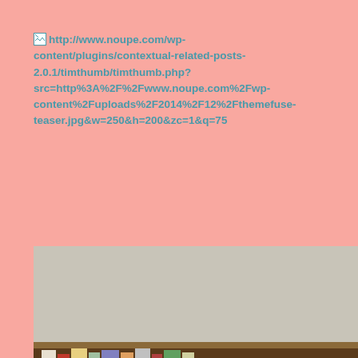[http://www.noupe.com/wp-content/plugins/contextual-related-posts-2.0.1/timthumb/timthumb.php?src=http%3A%2F%2Fwww.noupe.com%2Fwp-content%2Fuploads%2F2014%2F12%2Fthemefuse-teaser.jpg&w=250&h=200&zc=1&q=75
[http...2.0.1/...src=h...content...teaser...
[Figure (photo): An elderly woman with short white/blonde hair and glasses, wearing a dark cardigan over a light turtleneck, sitting in front of a bookshelf, looking down and reading.]
[Figure (photo): Partial image on the right side showing a tan/beige background with what appears to be a hand visible at the bottom right corner.]